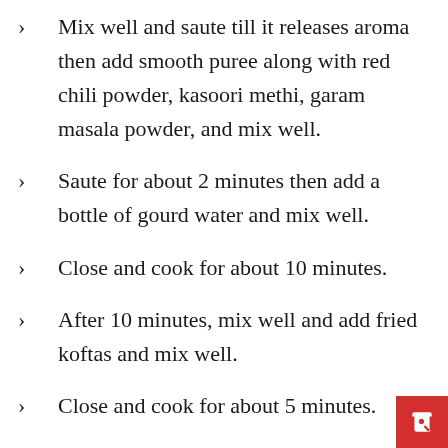Mix well and saute till it releases aroma then add smooth puree along with red chili powder, kasoori methi, garam masala powder, and mix well.
Saute for about 2 minutes then add a bottle of gourd water and mix well.
Close and cook for about 10 minutes.
After 10 minutes, mix well and add fried koftas and mix well.
Close and cook for about 5 minutes.
After 5 minutes, add coriander leaves and mix well.